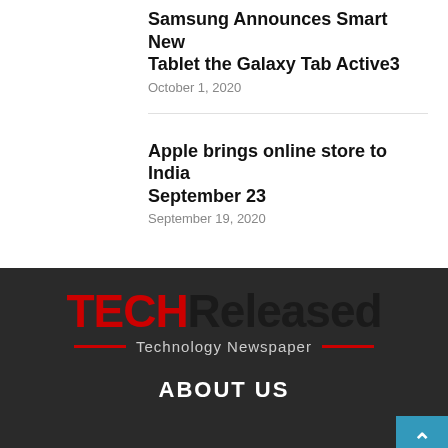Samsung Announces Smart New Tablet the Galaxy Tab Active3
October 1, 2020
Apple brings online store to India September 23
September 19, 2020
[Figure (logo): TECHReleased Technology Newspaper logo with red TECH text and dark Released text, red decorative lines flanking 'Technology Newspaper' tagline]
ABOUT US